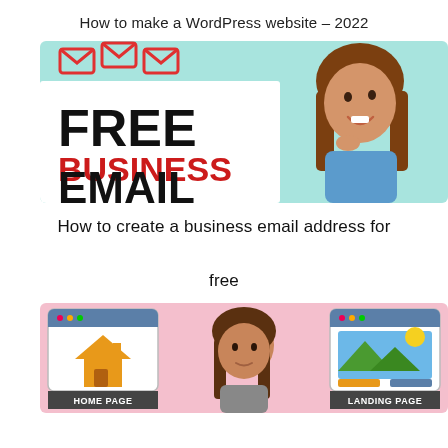How to make a WordPress website – 2022
[Figure (illustration): Promotional thumbnail image showing bold text 'FREE BUSINESS EMAIL' in black and red on a light teal background, with a smiling woman in a blue shirt on the right side. Red envelope icons appear at the top.]
How to create a business email address for

free
[Figure (illustration): Thumbnail image on a pink background showing a woman in the center, a home page icon (house in browser frame) on the left with label 'HOME PAGE', and a landing page icon (landscape image in browser frame) on the right with label 'LANDING PAGE'.]